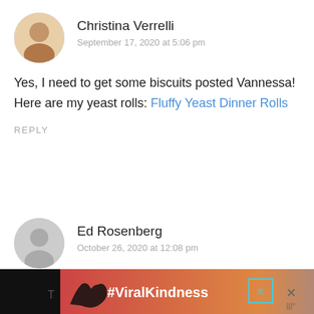Christina Verrelli
September 17, 2020 at 5:06 pm
Yes, I need to get some biscuits posted Vannessa! Here are my yeast rolls: Fluffy Yeast Dinner Rolls
REPLY
Ed Rosenberg
October 26, 2020 at 12:08 pm
[Figure (photo): Advertisement banner at bottom with heart hands silhouette and #ViralKindness text]